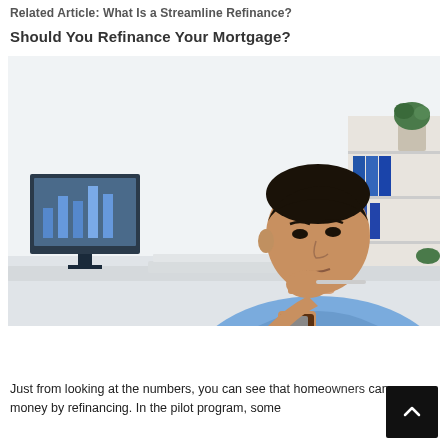Related Article: What Is a Streamline Refinance?
Should You Refinance Your Mortgage?
[Figure (photo): A man in a light blue shirt sitting at a desk with a laptop, hand on chin in a thoughtful pose, with office shelving and a computer monitor in the background]
Just from looking at the numbers, you can see that homeowners can save money by refinancing. In the pilot program, some